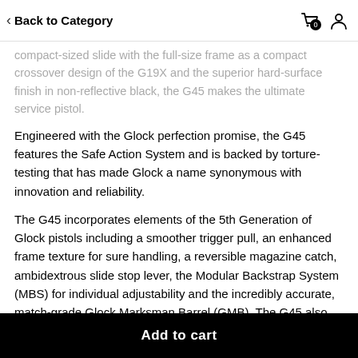Back to Category
compact-sized slide with the full-size frame as a compact crossover design of the G19X and the superior hard-surface finish in non-reflective black, the G45 makes the ultimate service pistol.
Engineered with the Glock perfection promise, the G45 features the Safe Action System and is backed by torture-testing that has made Glock a name synonymous with innovation and reliability.
The G45 incorporates elements of the 5th Generation of Glock pistols including a smoother trigger pull, an enhanced frame texture for sure handling, a reversible magazine catch, ambidextrous slide stop lever, the Modular Backstrap System (MBS) for individual adjustability and the incredibly accurate, match-grade Glock Marksman Barrel (GMB). The G45 also features front serrations which are precision-milled forward of the ejection port on both sides.
Add to cart